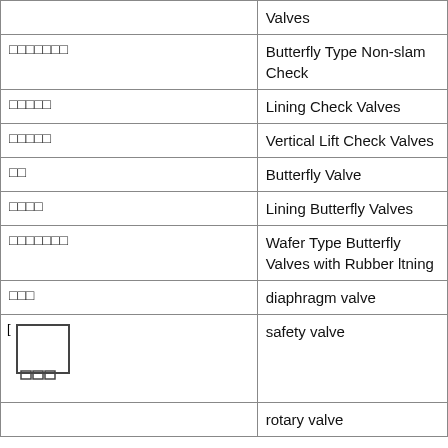| [CJK characters] | English Description |
| --- | --- |
|  | Valves |
| □□□□□□□ | Butterfly Type Non-slam Check |
| □□□□□ | Lining Check Valves |
| □□□□□ | Vertical Lift Check Valves |
| □□ | Butterfly Valve |
| □□□□ | Lining Butterfly Valves |
| □□□□□□□ | Wafer Type Butterfly Valves with Rubber ltning |
| □□□ | diaphragm valve |
| [image] | safety valve |
|  | rotary valve |